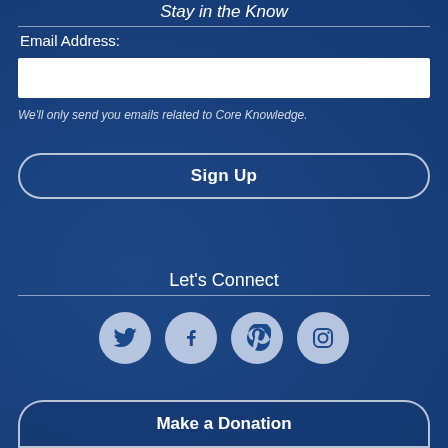Stay in the Know
Email Address:
We'll only send you emails related to Core Knowledge.
Sign Up
Let's Connect
[Figure (infographic): Four social media icons in circles: Twitter (bird), Facebook (f), Pinterest (P), Instagram (camera)]
Make a Donation